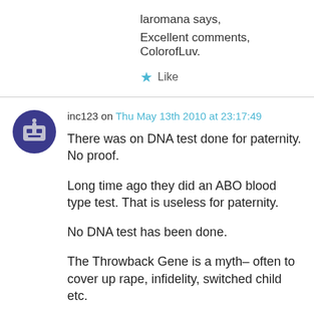laromana says,
Excellent comments, ColorofLuv.
★ Like
inc123 on Thu May 13th 2010 at 23:17:49
There was on DNA test done for paternity. No proof.
Long time ago they did an ABO blood type test. That is useless for paternity.
No DNA test has been done.
The Throwback Gene is a myth– often to cover up rape, infidelity, switched child etc.
She is not the biological child of those two